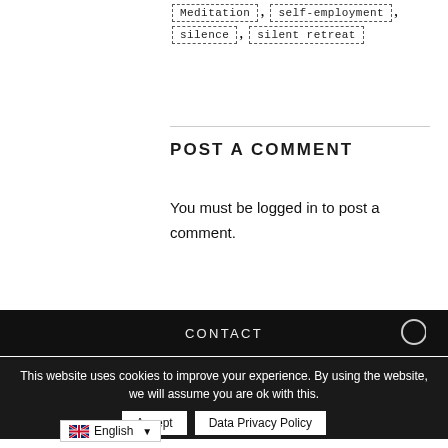Meditation, self-employment, silence, silent retreat
POST A COMMENT
You must be logged in to post a comment.
CONTACT
This website uses cookies to improve your experience. By using the website, we will assume you are ok with this.
Accept   Data Privacy Policy
English